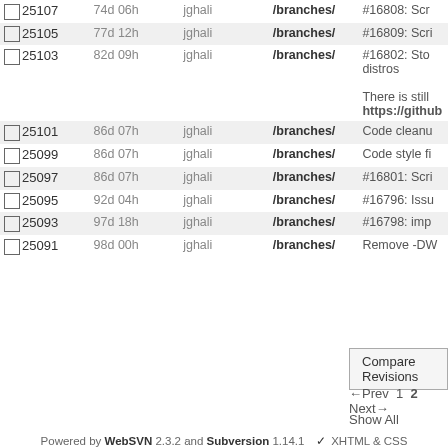|  | Rev | Age | Author | Path | Message |
| --- | --- | --- | --- | --- | --- |
| ☐ | 25107 | 74d 06h | jghali | /branches/ | #16808: Scr... |
| ☐ | 25105 | 77d 12h | jghali | /branches/ | #16809: Scri... |
| ☐ | 25103 | 82d 09h | jghali | /branches/ | #16802: Sto... distros

There is still
https://github... |
| ☐ | 25101 | 86d 07h | jghali | /branches/ | Code cleanu... |
| ☐ | 25099 | 86d 07h | jghali | /branches/ | Code style fi... |
| ☐ | 25097 | 86d 07h | jghali | /branches/ | #16801: Scri... |
| ☐ | 25095 | 92d 04h | jghali | /branches/ | #16796: Issu... |
| ☐ | 25093 | 97d 18h | jghali | /branches/ | #16798: imp... |
| ☐ | 25091 | 98d 00h | jghali | /branches/ | Remove -DW... |
Compare Revisions
← Prev  1  2  Next →
Show All
Powered by WebSVN 2.3.2 and Subversion 1.14.1  ✓ XHTML & CSS